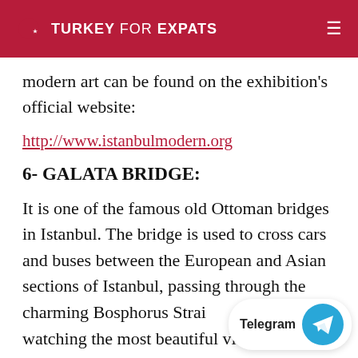TURKEY FOR EXPATS
modern art can be found on the exhibition's official website:
http://www.istanbulmodern.org
6- GALATA BRIDGE:
It is one of the famous old Ottoman bridges in Istanbul. The bridge is used to cross cars and buses between the European and Asian sections of Istanbul, passing through the charming Bosphorus Strait and watching the most beautiful views of the Bosphorus and the atmosphere of Istanbul